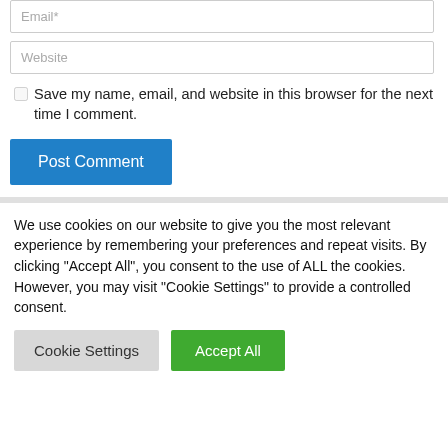Email*
Website
Save my name, email, and website in this browser for the next time I comment.
Post Comment
We use cookies on our website to give you the most relevant experience by remembering your preferences and repeat visits. By clicking "Accept All", you consent to the use of ALL the cookies. However, you may visit "Cookie Settings" to provide a controlled consent.
Cookie Settings
Accept All